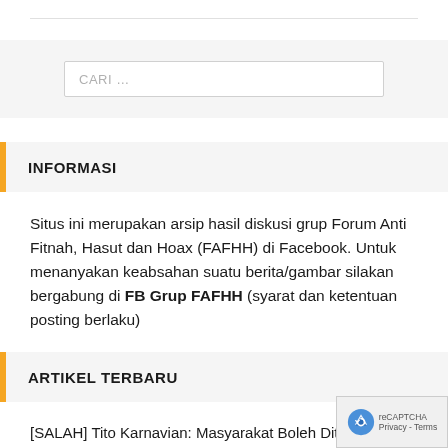[Figure (other): Search input field with placeholder text 'CARI ...' on a light gray background]
INFORMASI
Situs ini merupakan arsip hasil diskusi grup Forum Anti Fitnah, Hasut dan Hoax (FAFHH) di Facebook. Untuk menanyakan keabsahan suatu berita/gambar silakan bergabung di FB Grup FAFHH (syarat dan ketentuan posting berlaku)
ARTIKEL TERBARU
[SALAH] Tito Karnavian: Masyarakat Boleh Ditemba...